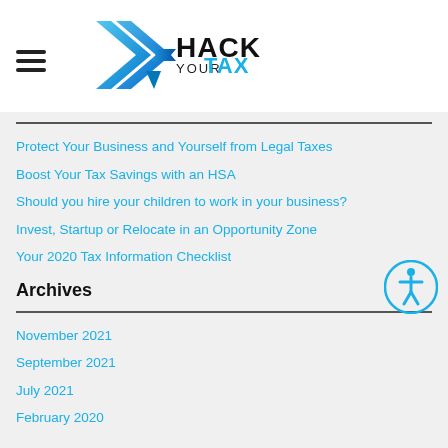[Figure (logo): Hack Your Tax logo with blue arrow/chevron graphic and bold text]
Protect Your Business and Yourself from Legal Taxes
Boost Your Tax Savings with an HSA
Should you hire your children to work in your business?
Invest, Startup or Relocate in an Opportunity Zone
Your 2020 Tax Information Checklist
Archives
November 2021
September 2021
July 2021
February 2020